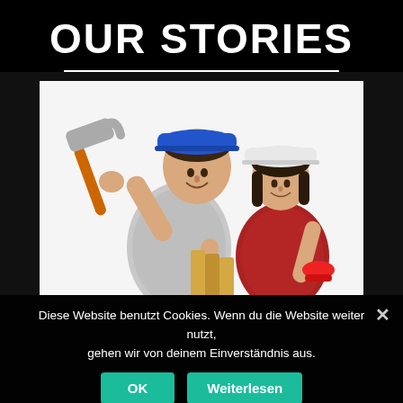OUR STORIES
[Figure (photo): Two construction workers: a man holding a hammer wearing a blue hard hat, and a woman wearing a white hard hat holding lumber and tools, both smiling against a white background.]
Diese Website benutzt Cookies. Wenn du die Website weiter nutzt, gehen wir von deinem Einverständnis aus.
Since our te... ...orks